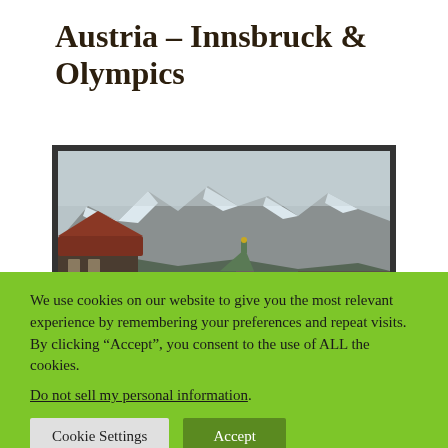Austria – Innsbruck & Olympics
[Figure (photo): Photograph of Innsbruck showing snow-capped mountains in the background with historic buildings and a church spire with a green copper dome in the foreground]
We use cookies on our website to give you the most relevant experience by remembering your preferences and repeat visits. By clicking “Accept”, you consent to the use of ALL the cookies.
Do not sell my personal information.